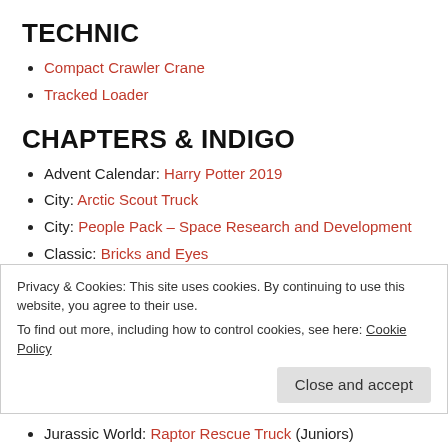TECHNIC
Compact Crawler Crane
Tracked Loader
CHAPTERS & INDIGO
Advent Calendar: Harry Potter 2019
City: Arctic Scout Truck
City: People Pack – Space Research and Development
Classic: Bricks and Eyes
Friends: Andrea's Talent Show
Friends: Big Race Day
Privacy & Cookies: This site uses cookies. By continuing to use this website, you agree to their use.
To find out more, including how to control cookies, see here: Cookie Policy
Jurassic World: Raptor Rescue Truck (Juniors)